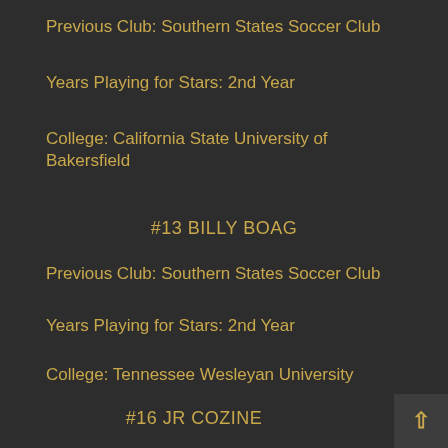Previous Club: Southern States Soccer Club
Years Playing for Stars: 2nd Year
College: California State University of Bakersfield
#13 BILLY BOAG
Previous Club: Southern States Soccer Club
Years Playing for Stars: 2nd Year
College: Tennessee Wesleyan University
#16 JR COZINE
Previous Club: Southern States Soccer Club